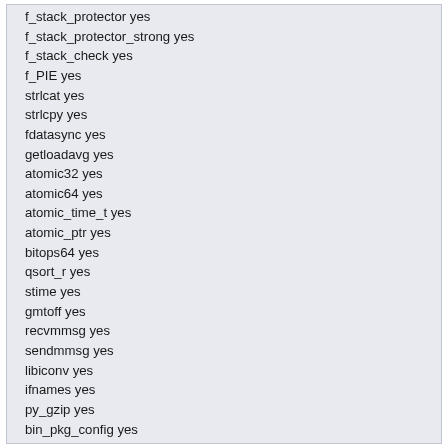f_stack_protector yes
f_stack_protector_strong yes
f_stack_check yes
f_PIE yes
strlcat yes
strlcpy yes
fdatasync yes
getloadavg yes
atomic32 yes
atomic64 yes
atomic_time_t yes
atomic_ptr yes
bitops64 yes
qsort_r yes
stime yes
gmtoff yes
recvmmsg yes
sendmmsg yes
libiconv yes
ifnames yes
py_gzip yes
bin_pkg_config yes
bin_xgettext yes
bin_msgmerge yes
bin_gzip yes
bin_bzip2 yes
ssl yes
linuxdvbapi yes
linuxdvb_ca yes
libhdhomerun yes